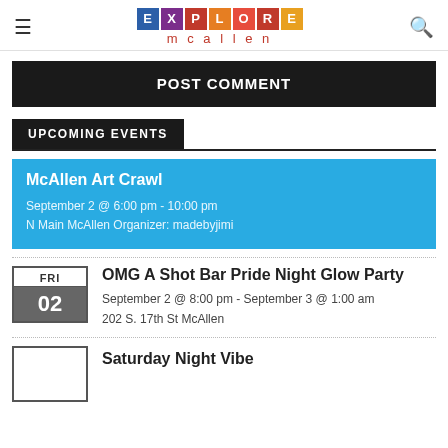Explore McAllen
POST COMMENT
UPCOMING EVENTS
McAllen Art Crawl
September 2 @ 6:00 pm - 10:00 pm
N Main McAllen Organizer: madebyjimi
OMG A Shot Bar Pride Night Glow Party
September 2 @ 8:00 pm - September 3 @ 1:00 am
202 S. 17th St McAllen
Saturday Night Vibe